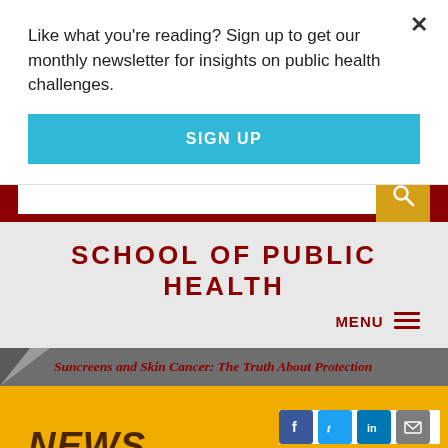Like what you're reading? Sign up to get our monthly newsletter for insights on public health challenges.
SIGN UP
[Figure (screenshot): Search bar with dark red background and gold search button with magnifying glass icon]
SCHOOL OF PUBLIC HEALTH
MENU
Suncreens and Skin Cancer: The Truth About Protection
NEWS